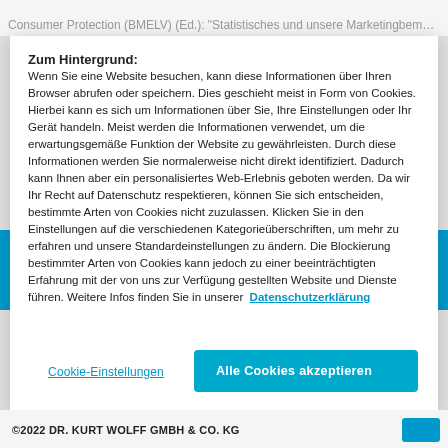Consumer Protection (BMELV) (Ed.): "Statistisches und unsere Marketingbemühungen zu unterstützern"
Zum Hintergrund:
Wenn Sie eine Website besuchen, kann diese Informationen über Ihren Browser abrufen oder speichern. Dies geschieht meist in Form von Cookies. Hierbei kann es sich um Informationen über Sie, Ihre Einstellungen oder Ihr Gerät handeln. Meist werden die Informationen verwendet, um die erwartungsgemäße Funktion der Website zu gewährleisten. Durch diese Informationen werden Sie normalerweise nicht direkt identifiziert. Dadurch kann Ihnen aber ein personalisiertes Web-Erlebnis geboten werden. Da wir Ihr Recht auf Datenschutz respektieren, können Sie sich entscheiden, bestimmte Arten von Cookies nicht zuzulassen. Klicken Sie in den Einstellungen auf die verschiedenen Kategorieüberschriften, um mehr zu erfahren und unsere Standardeinstellungen zu ändern. Die Blockierung bestimmter Arten von Cookies kann jedoch zu einer beeinträchtigten Erfahrung mit der von uns zur Verfügung gestellten Website und Dienste führen. Weitere Infos finden Sie in unserer  Datenschutzerklärung
Cookie-Einstellungen
Alle Cookies akzeptieren
©2022 DR. KURT WOLFF GMBH & CO. KG